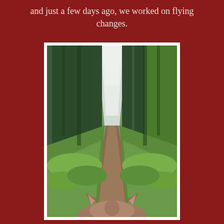and just a few days ago, we worked on flying changes.
[Figure (photo): View from horseback looking down a narrow dirt trail through a dense forest of tall evergreen trees, with green undergrowth on either side. The horse's ears are visible in the foreground bottom of the image.]